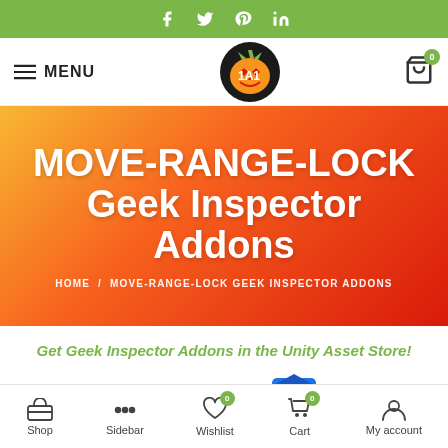Social icons: Facebook, Twitter, Pinterest, LinkedIn
MENU | Logo | Cart (0)
MOVE-RANGE-LOCK Geek Inspector Addons
HOME / MOVE-RANGE-LOCK GEEK INSPECTOR ADDONS
Get Geek Inspector Addons in the Unity Asset Store!
MOVE-RANGE-LOCK Geek Inspect...
Shop | Sidebar | Wishlist (0) | Cart (0) | My account